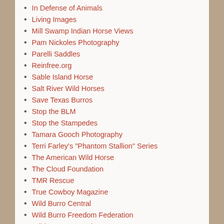In Defense of Animals
Living Images
Mill Swamp Indian Horse Views
Pam Nickoles Photography
Parelli Saddles
Reinfree.org
Sable Island Horse
Salt River Wild Horses
Save Texas Burros
Stop the BLM
Stop the Stampedes
Tamara Gooch Photography
Terri Farley's "Phantom Stallion" Series
The American Wild Horse
The Cloud Foundation
TMR Rescue
True Cowboy Magazine
Wild Burro Central
Wild Burro Freedom Federation
Wild Horse Central
Wild Horse Freedom Federation
Wild Horse Investigation Team